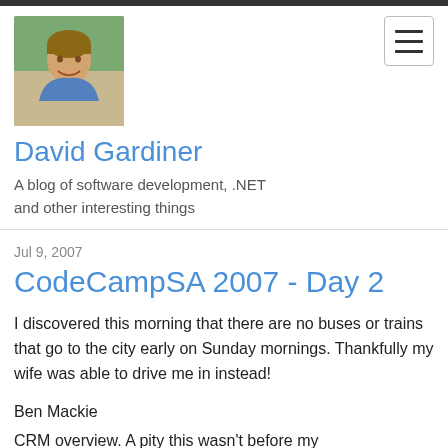[Figure (photo): Profile photo of David Gardiner, a man smiling outdoors with trees in background, wearing a blue shirt]
David Gardiner
A blog of software development, .NET and other interesting things
Jul 9, 2007
CodeCampSA 2007 - Day 2
I discovered this morning that there are no buses or trains that go to the city early on Sunday mornings. Thankfully my wife was able to drive me in instead!
Ben Mackie
CRM overview. A pity this wasn't before my